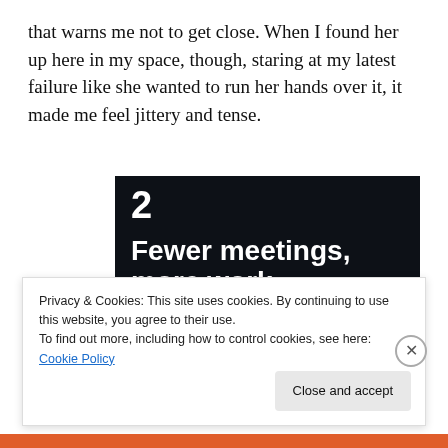that warns me not to get close. When I found her up here in my space, though, staring at my latest failure like she wanted to run her hands over it, it made me feel jittery and tense.
[Figure (screenshot): Advertisement banner with dark background showing '2' at top left, bold white text 'Fewer meetings, more work.' and a 'Get started for free' button with rounded border.]
Privacy & Cookies: This site uses cookies. By continuing to use this website, you agree to their use.
To find out more, including how to control cookies, see here: Cookie Policy
Close and accept